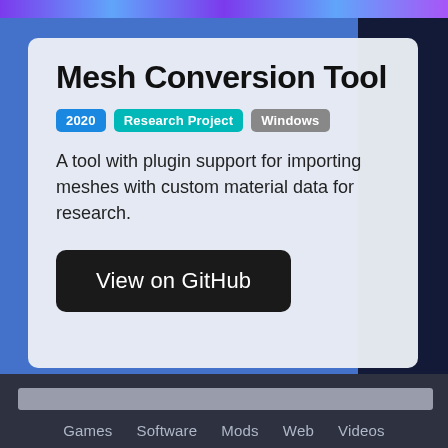Mesh Conversion Tool
2020 | Research Project | Windows
A tool with plugin support for importing meshes with custom material data for research.
View on GitHub
Games  Software  Mods  Web  Videos